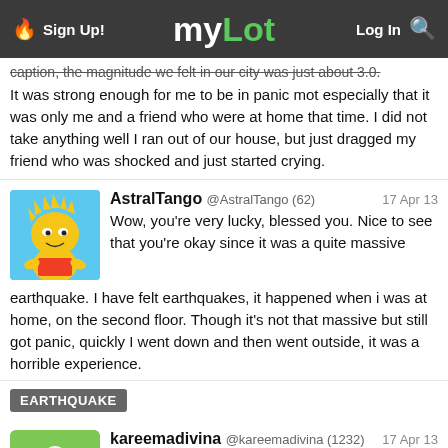Sign Up! | myLot | Log In
caption, the magnitude we felt in our city was just about 3.0. It was strong enough for me to be in panic mot especially that it was only me and a friend who were at home that time. I did not take anything well I ran out of our house, but just dragged my friend who was shocked and just started crying.
AstralTango @AstralTango (62) 17 Apr 13
Wow, you're very lucky, blessed you. Nice to see that you're okay since it was a quite massive earthquake. I have felt earthquakes, it happened when i was at home, on the second floor. Though it's not that massive but still got panic, quickly I went down and then went outside, it was a horrible experience.
EARTHQUAKE
kareemadivina @kareemadivina (1232) 17 Apr 13
I'm supposed to experience a magnitude of 7 earthquake way back in college but fortunately I'm not even aware of it. I was on the bus the time the earthquake